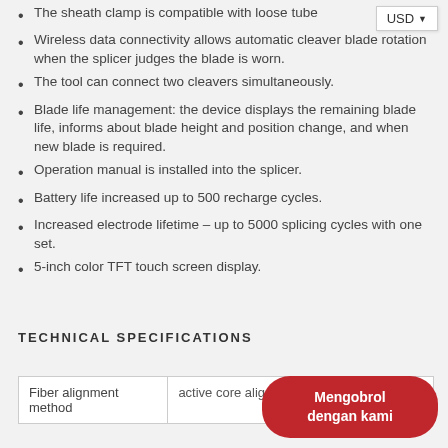The sheath clamp is compatible with loose tube
Wireless data connectivity allows automatic cleaver blade rotation when the splicer judges the blade is worn.
The tool can connect two cleavers simultaneously.
Blade life management: the device displays the remaining blade life, informs about blade height and position change, and when new blade is required.
Operation manual is installed into the splicer.
Battery life increased up to 500 recharge cycles.
Increased electrode lifetime – up to 5000 splicing cycles with one set.
5-inch color TFT touch screen display.
TECHNICAL SPECIFICATIONS
| Fiber alignment method | active core alignment |